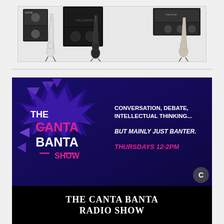[Figure (photo): Black and white photo of multiple electric guitars on stands arranged in front of large amplifier stacks]
[Figure (illustration): The Canta Banta Show promotional banner with dark blue/purple background, star burst logo on left with 'THE CANTA BANTA SHOW' text in white and pink, and on the right: 'CONVERSATION, DEBATE, INTELLECTUAL THINKING... BUT MAINLY JUST BANTER. THURSDAYS 12-2PM']
THE CANTA BANTA RADIO SHOW